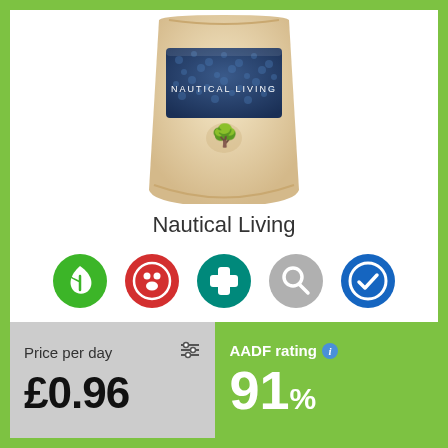[Figure (photo): Product image of Nautical Living dog food bag - cream/beige bag with blue label reading NAUTICAL LIVING and a tree logo]
Nautical Living
[Figure (infographic): Row of 5 circular icons: green leaf icon, red paw/steam icon, teal medical cross icon, grey magnifying glass icon, blue checkmark/verified icon]
Price per day £0.96
AADF rating 91%